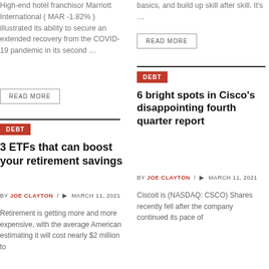High-end hotel franchisor Marriott International ( MAR -1.82% ) illustrated its ability to secure an extended recovery from the COVID-19 pandemic in its second …
READ MORE
basics, and build up skill after skill. It's …
READ MORE
DEBT
DEBT
3 ETFs that can boost your retirement savings
BY JOE CLAYTON / MARCH 11, 2021
Retirement is getting more and more expensive, with the average American estimating it will cost nearly $2 million to
6 bright spots in Cisco's disappointing fourth quarter report
BY JOE CLAYTON / MARCH 11, 2021
Ciscoit is (NASDAQ: CSCO) Shares recently fell after the company continued its pace of